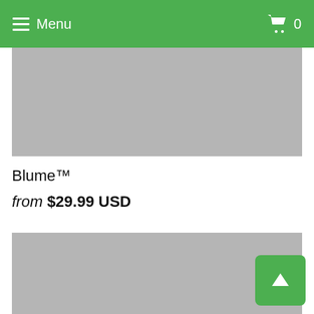Menu  0
[Figure (photo): Product image placeholder (top portion, gray rectangle, cropped from above)]
Blume™
from $29.99 USD
[Figure (photo): Product image placeholder (gray rectangle, second product image)]